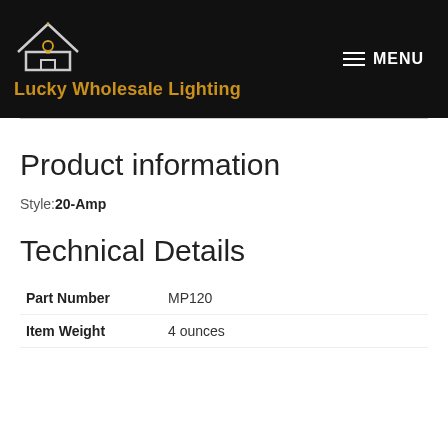[Figure (logo): Lucky Wholesale Lighting logo with house and lightbulb icon on black header background]
Product information
Style: 20-Amp
Technical Details
| Part Number | MP120 |
| Item Weight | 4 ounces |